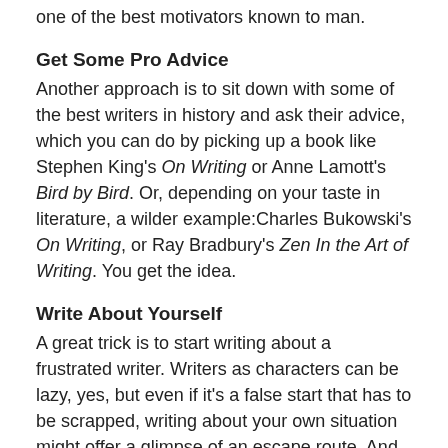one of the best motivators known to man.
Get Some Pro Advice
Another approach is to sit down with some of the best writers in history and ask their advice, which you can do by picking up a book like Stephen King's On Writing or Anne Lamott's Bird by Bird. Or, depending on your taste in literature, a wilder example:Charles Bukowski's On Writing, or Ray Bradbury's Zen In the Art of Writing. You get the idea.
Write About Yourself
A great trick is to start writing about a frustrated writer. Writers as characters can be lazy, yes, but even if it's a false start that has to be scrapped, writing about your own situation might offer a glimpse of an escape route. And writing about yourself is (usually) easy.